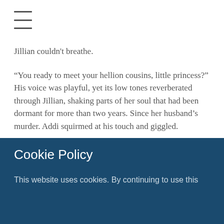≡
Jillian couldn't breathe.
“You ready to meet your hellion cousins, little princess?” His voice was playful, yet its low tones reverberated through Jillian, shaking parts of her soul that had been dormant for more than two years. Since her husband’s murder. Addi squirmed at his touch and giggled.
“Uh...I’ll take her,” Jillian managed to push out through her tightened throat as she grabbed for
Cookie Policy
This website uses cookies. By continuing to use this